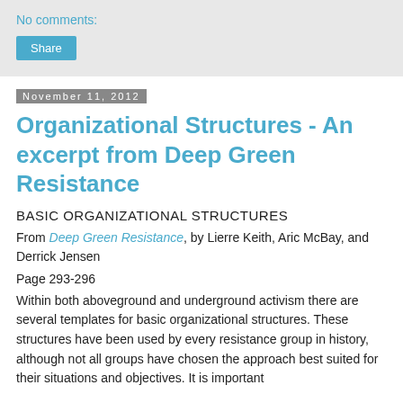No comments:
Share
November 11, 2012
Organizational Structures - An excerpt from Deep Green Resistance
BASIC ORGANIZATIONAL STRUCTURES
From Deep Green Resistance, by Lierre Keith, Aric McBay, and Derrick Jensen
Page 293-296
Within both aboveground and underground activism there are several templates for basic organizational structures. These structures have been used by every resistance group in history, although not all groups have chosen the approach best suited for their situations and objectives. It is important